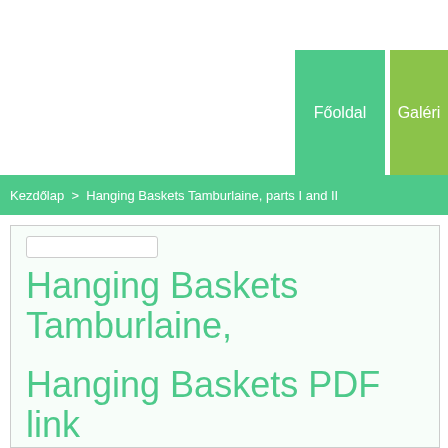Főoldal | Galéri
Kezdőlap > Hanging Baskets Tamburlaine, parts I and II
Hanging Baskets Tamburlaine,
Hanging Baskets PDF link
Hanging Baskets audio link